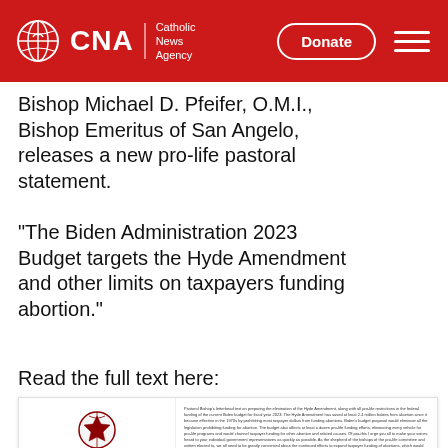CNA Catholic News Agency
Bishop Michael D. Pfeifer, O.M.I., Bishop Emeritus of San Angelo, releases a new pro-life pastoral statement.
"The Biden Administration 2023 Budget targets the Hyde Amendment and other limits on taxpayers funding abortion."
Read the full text here:
[Figure (screenshot): Preview image of a pastoral letter document with a bishop's crest at top, red text heading with bishop's name and diocese, and body text discussing the Biden Administration 2023 Budget and the Hyde Amendment.]